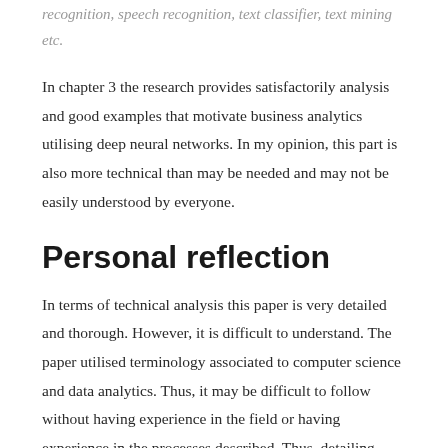recognition, speech recognition, text classifier, text mining etc.
In chapter 3 the research provides satisfactorily analysis and good examples that motivate business analytics utilising deep neural networks. In my opinion, this part is also more technical than may be needed and may not be easily understood by everyone.
Personal reflection
In terms of technical analysis this paper is very detailed and thorough. However, it is difficult to understand. The paper utilised terminology associated to computer science and data analytics. Thus, it may be difficult to follow without having experience in the field or having experience in the processes described. Thus, detailing these processes in more collaborate examples or storytelling may have increased the readers understanding. A possible improvement could be to connect practical implementations in real life scenarios that demonstrate business strategies utilising such functions.